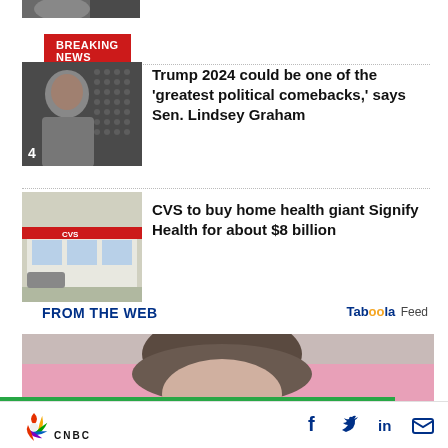[Figure (photo): Top partial image strip showing a person]
[Figure (logo): Breaking News red badge with white bold text]
[Figure (photo): Thumbnail photo of older man at podium, number 4 in corner, dotted background]
Trump 2024 could be one of the ‘greatest political comebacks,’ says Sen. Lindsey Graham
[Figure (photo): Thumbnail photo of CVS store exterior]
CVS to buy home health giant Signify Health for about $8 billion
FROM THE WEB
Taboola Feed
[Figure (photo): Partial photo of person with dark hair against pink background]
[Figure (logo): CNBC logo with peacock icon]
[Figure (logo): Social media icons: Facebook, Twitter, LinkedIn, Email]